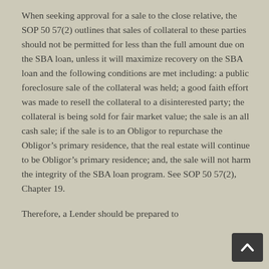When seeking approval for a sale to the close relative, the SOP 50 57(2) outlines that sales of collateral to these parties should not be permitted for less than the full amount due on the SBA loan, unless it will maximize recovery on the SBA loan and the following conditions are met including: a public foreclosure sale of the collateral was held; a good faith effort was made to resell the collateral to a disinterested party; the collateral is being sold for fair market value; the sale is an all cash sale; if the sale is to an Obligor to repurchase the Obligor’s primary residence, that the real estate will continue to be Obligor’s primary residence; and, the sale will not harm the integrity of the SBA loan program. See SOP 50 57(2), Chapter 19.
Therefore, a Lender should be prepared to